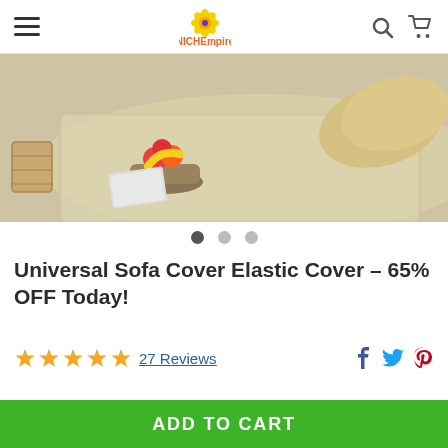NICHEmpire navigation bar with hamburger menu, logo, search and cart icons
[Figure (photo): Product lifestyle photo showing a beige/cream shaggy area rug on a floor with a basket of fruit and a cushion visible]
Universal Sofa Cover Elastic Cover – 65% OFF Today!
27 Reviews
ADD TO CART